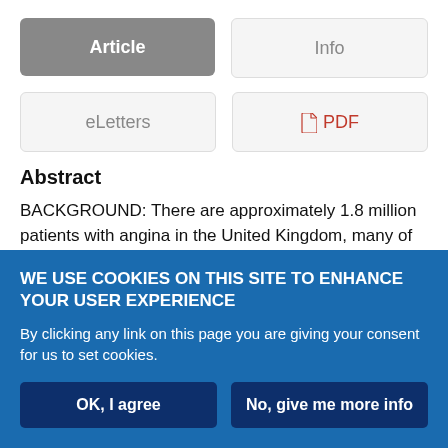[Figure (screenshot): Navigation tab buttons: Article (active/grey), Info, eLetters, PDF]
Abstract
BACKGROUND: There are approximately 1.8 million patients with angina in the United Kingdom, many of whom report a poor quality of life, including raised levels of anxiety and depression. AIM: To evaluate the effect of a cognitive behavioural disease management...
WE USE COOKIES ON THIS SITE TO ENHANCE YOUR USER EXPERIENCE
By clicking any link on this page you are giving your consent for us to set cookies.